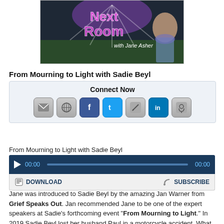[Figure (photo): Podcast show image for 'Next Room with Jane Asher' showing a woman with purple text overlay]
From Mourning to Light with Sadie Beyl
[Figure (infographic): Connect Now box with social media and contact icons: email, globe, Facebook, Twitter, pen/blog, LinkedIn, podcast]
From Mourning to Light with Sadie Beyl
[Figure (other): Audio player bar showing 00:00 start and end time with play button and progress bar, plus Download and Subscribe buttons below]
Jane was introduced to Sadie Beyl by the amazing Jan Warner from Grief Speaks Out. Jan recommended Jane to be one of the expert speakers at Sadie's forthcoming event "From Mourning to Light." In 2019 Sadie Beyl lost her husband Paul in a motorcycle accident. What Sadie does after this tragedy will uplift and inspire you. Join Jane today as she discovers Sadie's new found passion and mission through her journey with grief. This show will take you from